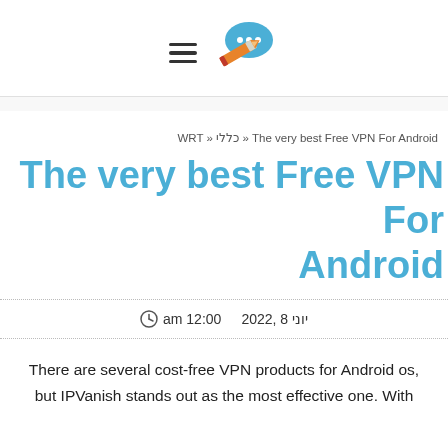[Figure (logo): Hamburger menu icon and chat/pencil logo icon]
The very best Free VPN For Android « כללי « WRT
The very best Free VPN For Android
יוני 8 , 2022   12:00 am
There are several cost-free VPN products for Android os, but IPVanish stands out as the most effective one. With more than 1,100 servers in 70 countries, it also has